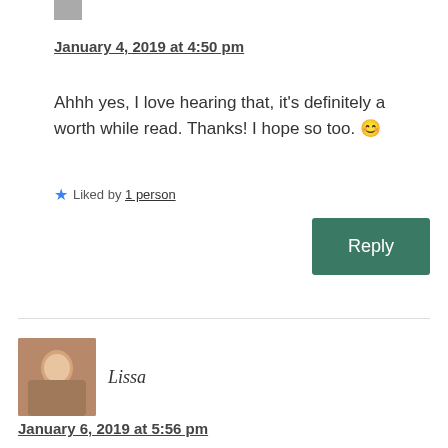January 4, 2019 at 4:50 pm
Ahhh yes, I love hearing that, it's definitely a worth while read. Thanks! I hope so too. 😊
★ Liked by 1 person
[Figure (other): Green Reply button]
[Figure (photo): Avatar photo of Lissa]
Lissa
January 6, 2019 at 5:56 pm